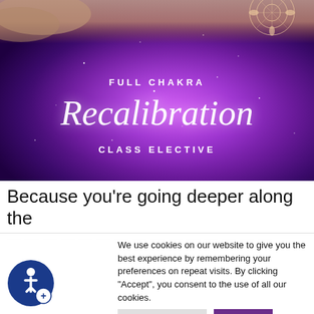[Figure (illustration): Purple/violet galaxy background with skin-toned hands at top. Text overlay reads 'FULL CHAKRA Recalibration CLASS ELECTIVE' in white. Decorative mandala tattoo visible in top right corner.]
Because you’re going deeper along the
We use cookies on our website to give you the best experience by remembering your preferences on repeat visits. By clicking “Accept”, you consent to the use of all our cookies.